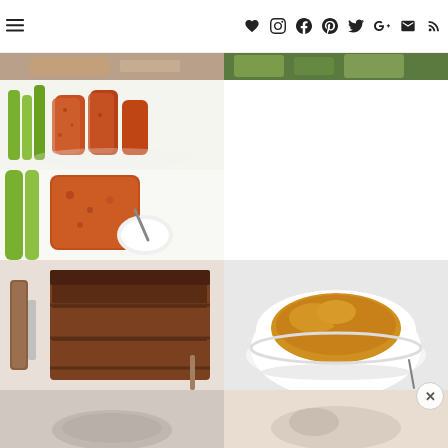Navigation header with hamburger menu and social media icons
[Figure (photo): Partial view of two food photos at top: left appears to be a baked/casserole dish, right appears to be roasted vegetables]
[Figure (photo): Buffalo chicken tenders with celery sticks on a white plate, coated in orange-red sauce]
[Figure (photo): Close-up of buffalo chicken tender being dipped in white ranch or blue cheese dressing, with celery]
[Figure (photo): Sliced meatloaf with dark glaze, showing layers with a knife/fork, top-down angle]
[Figure (photo): Mashed sweet potatoes in a white bowl, orange-colored, on light background]
[Figure (photo): Partial bottom images: left appears to be a light-colored food item, right appears to be another food dish]